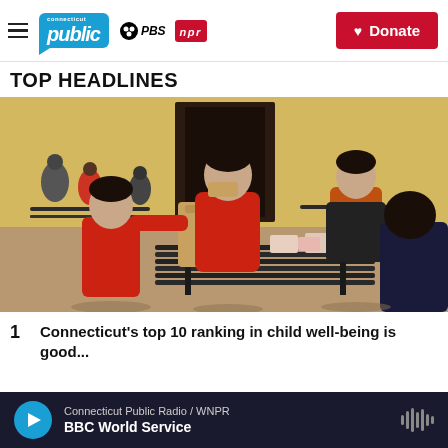Connecticut Public / PBS / NPR — Donate
TOP HEADLINES
[Figure (photo): Children eating lunch outdoors at a school, gathered around a dark metal picnic table in a courtyard. A girl in a red jacket eats a sandwich in the center, while a boy in a red shirt opens a brown paper bag on the left. Two other children are visible on the right side. The background shows a yellow building wall with a dark doorway and other students in the distance.]
Connecticut's top 10 ranking in child well-being is good...
Connecticut Public Radio / WNPR — BBC World Service